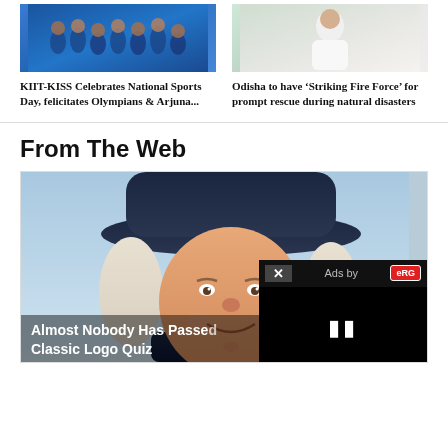[Figure (photo): Sports team photo - group of athletes in blue uniforms]
KIIT-KISS Celebrates National Sports Day, felicitates Olympians & Arjuna...
[Figure (photo): Person in white clothing - Odisha news photo]
Odisha to have ‘Striking Fire Force’ for prompt rescue during natural disasters
From The Web
[Figure (photo): Quaker Oats man illustration with dark hat and white hair, smiling]
Almost Nobody Has Passed This Classic Logo Quiz
[Figure (screenshot): Ads overlay with close button (x), 'Ads by' label with red logo, black video area with pause button, red bar at bottom]